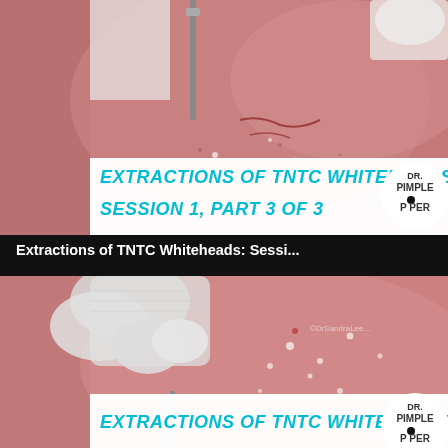[Figure (photo): Close-up medical photo of skin being treated with a metal extraction tool, showing whiteheads/acne on reddened skin. White overlay bar at bottom reads 'EXTRACTIONS OF TNTC WHITEHEADS' and 'SESSION 1, PART 3 OF 3' in cyan bold italic text. Dr. Pimple Popper logo circle in bottom right corner.]
Extractions of TNTC Whiteheads: Sessi...
[Figure (photo): Close-up medical photo of skin with multiple whiteheads, gloved hands with gauze visible at top left, metal extraction tool visible at bottom. White overlay bar at bottom reads 'EXTRACTIONS OF TNTC WHITEHEADS' in cyan bold italic text. Dr. Pimple Popper logo circle in bottom right corner. Watermark '©DrSandraLee' visible on image.]